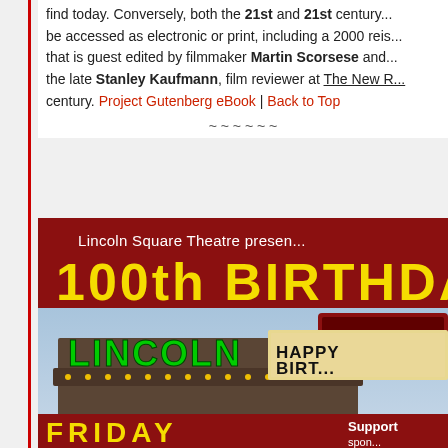find today. Conversely, both the 21st and 21st century... be accessed as electronic or print, including a 2000 reis... that is guest edited by filmmaker Martin Scorsese and... the late Stanley Kaufmann, film reviewer at The New R... century. Project Gutenberg eBook | Back to Top
~ ~ ~ ~ ~ ~
[Figure (photo): Lincoln Square Theatre poster showing 100th Birthday celebration. Red banner at top with white text 'Lincoln Square Theatre presents' and yellow text '100th BIRTHDAY'. Below is a photo of the theatre marquee showing 'LINCOLN' in green neon letters and 'HAPPY BIRTH' on the display board. Bottom has red banner with yellow 'FRIDAY' text and white 'Support' text.]